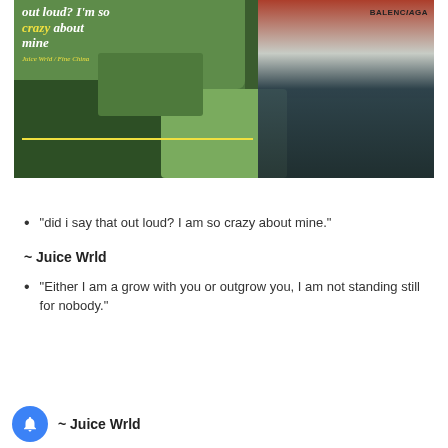[Figure (photo): A decorative image over a mossy green wall background with a person wearing a Balenciaga jacket on the right side. White and yellow italic script text overlay reads: 'out loud? I'm so crazy about mine' with attribution 'Juice Wrld / Fine China' and a yellow horizontal line beneath.]
“did i say that out loud? I am so crazy about mine.”
~ Juice Wrld
“Either I am a grow with you or outgrow you, I am not standing still for nobody.”
~ Juice Wrld